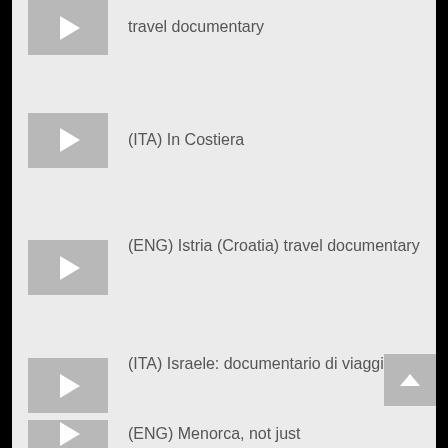travel documentary
(ITA) In Costiera
(ENG) Istria (Croatia) travel documentary
(ITA) Israele: documentario di viaggio
(ENG) Menorca, not just